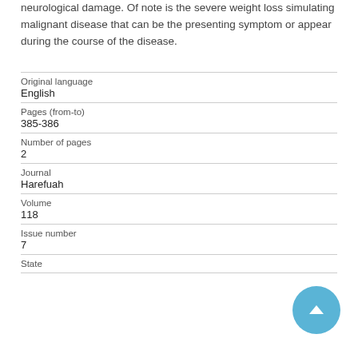neurological damage. Of note is the severe weight loss simulating malignant disease that can be the presenting symptom or appear during the course of the disease.
| Original language | English |
| Pages (from-to) | 385-386 |
| Number of pages | 2 |
| Journal | Harefuah |
| Volume | 118 |
| Issue number | 7 |
| State |  |